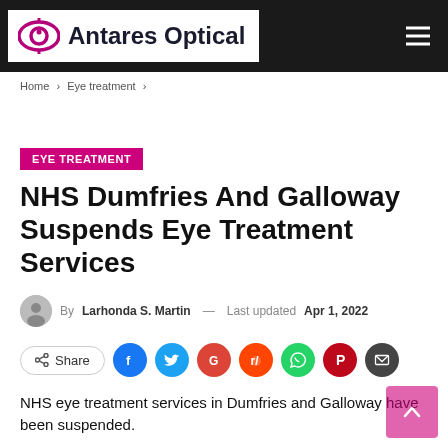Antares Optical
Home > Eye treatment >
EYE TREATMENT
NHS Dumfries And Galloway Suspends Eye Treatment Services
By Larhonda S. Martin — Last updated Apr 1, 2022
[Figure (infographic): Social share buttons: Share, Facebook, Twitter, Google+, Reddit, WhatsApp, Pinterest, Email]
NHS eye treatment services in Dumfries and Galloway have been suspended.
The health board confirmed yesterday that the orthoptic clinic